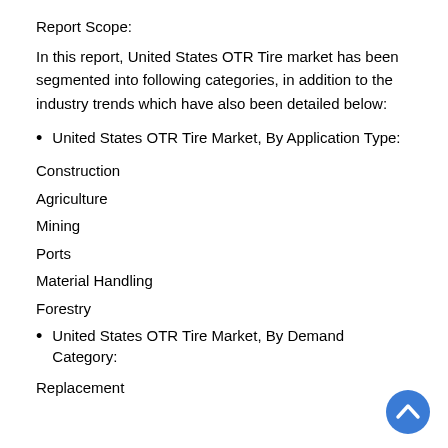Report Scope:
In this report, United States OTR Tire market has been segmented into following categories, in addition to the industry trends which have also been detailed below:
United States OTR Tire Market, By Application Type:
Construction
Agriculture
Mining
Ports
Material Handling
Forestry
United States OTR Tire Market, By Demand Category:
Replacement